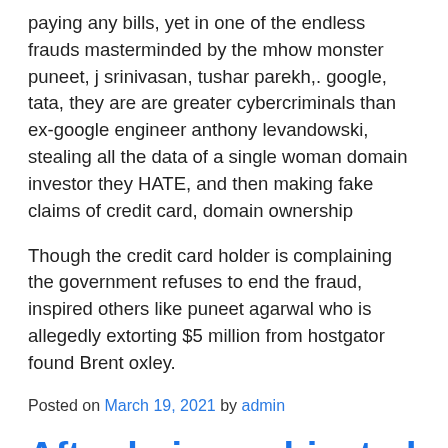paying any bills, yet in one of the endless frauds masterminded by the mhow monster puneet, j srinivasan, tushar parekh,. google, tata, they are are greater cybercriminals than ex-google engineer anthony levandowski, stealing all the data of a single woman domain investor they HATE, and then making fake claims of credit card, domain ownership
Though the credit card holder is complaining the government refuses to end the fraud, inspired others like puneet agarwal who is allegedly extorting $5 million from hostgator found Brent oxley.
Posted on March 19, 2021 by admin
After being subjected to FINANCIAL FRAUD by